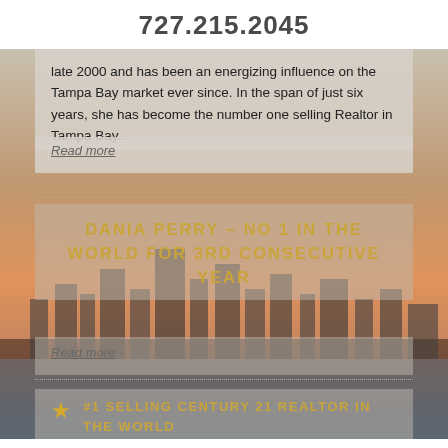727.215.2045
late 2000 and has been an energizing influence on the Tampa Bay market ever since. In the span of just six years, she has become the number one selling Realtor in Tampa Bay...
Read more
DANIA PERRY – NO 1 IN THE WORLD FOR 3RD CONSECUTIVE YEAR
Read more
#1 SELLING CENTURY 21 REALTOR IN THE WORLD
FOR THE 9TH TIME!